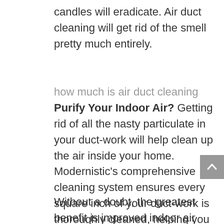candles will eradicate. Air duct cleaning will get rid of the smell pretty much entirely.
how much is air duct cleaning Purify Your Indoor Air? Getting rid of all the nasty particulate in your duct-work will help clean up the air inside your home. Modernistic's comprehensive cleaning system ensures every square inch of your duct-work is thoroughly cleaned, helping you breathe easy in your own home.
Without a doubt, the greatest benefit is improved indoor air quality. A